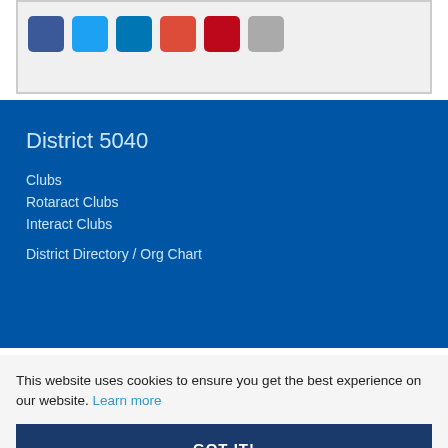[Figure (other): Social sharing icons: Facebook (blue), Twitter (cyan), LinkedIn (blue), Google+ (orange-red), Pinterest (red), Email (gray)]
District 5040
Clubs
Rotaract Clubs
Interact Clubs
District Directory / Org Chart
This website uses cookies to ensure you get the best experience on our website. Learn more
GOT IT!